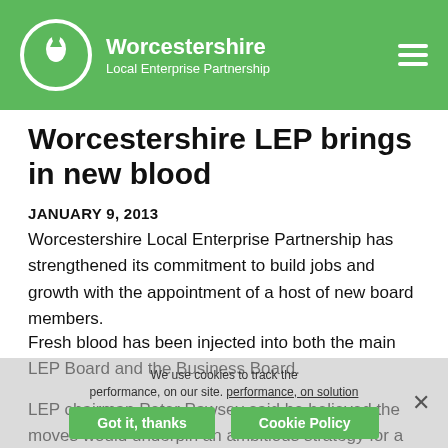Worcestershire Local Enterprise Partnership
Worcestershire LEP brings in new blood
JANUARY 9, 2013
Worcestershire Local Enterprise Partnership has strengthened its commitment to build jobs and growth with the appointment of a host of new board members.
Fresh blood has been injected into both the main LEP Board and the Business Board.
LEP chairman Peter Pawsey said he believed the moves would underpin an ambitious strategy for a